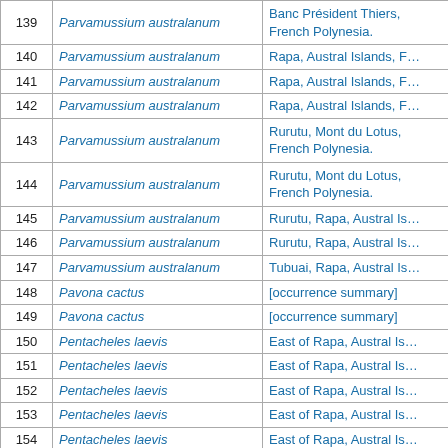| # | Species | Location |
| --- | --- | --- |
| 139 | Parvamussium australanum | Banc Président Thiers, French Polynesia. |
| 140 | Parvamussium australanum | Rapa, Austral Islands, F… |
| 141 | Parvamussium australanum | Rapa, Austral Islands, F… |
| 142 | Parvamussium australanum | Rapa, Austral Islands, F… |
| 143 | Parvamussium australanum | Rurutu, Mont du Lotus, French Polynesia. |
| 144 | Parvamussium australanum | Rurutu, Mont du Lotus, French Polynesia. |
| 145 | Parvamussium australanum | Rurutu, Rapa, Austral Is… |
| 146 | Parvamussium australanum | Rurutu, Rapa, Austral Is… |
| 147 | Parvamussium australanum | Tubuai, Rapa, Austral Is… |
| 148 | Pavona cactus | [occurrence summary] |
| 149 | Pavona cactus | [occurrence summary] |
| 150 | Pentacheles laevis | East of Rapa, Austral Is… |
| 151 | Pentacheles laevis | East of Rapa, Austral Is… |
| 152 | Pentacheles laevis | East of Rapa, Austral Is… |
| 153 | Pentacheles laevis | East of Rapa, Austral Is… |
| 154 | Pentacheles laevis | East of Rapa, Austral Is… |
| 155 | Pentacheles laevis | Rurutu, Avera |
| 156 | Pentacheles laevis | South coast of Rurutu |